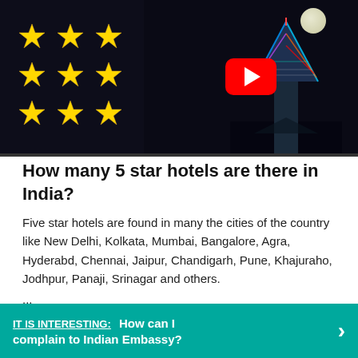[Figure (screenshot): YouTube video thumbnail showing gold stars on dark background (left) and the Burj Al Arab hotel at night with colorful lights (right), with a red YouTube play button in the center]
How many 5 star hotels are there in India?
Five star hotels are found in many the cities of the country like New Delhi, Kolkata, Mumbai, Bangalore, Agra, Hyderabd, Chennai, Jaipur, Chandigarh, Pune, Khajuraho, Jodhpur, Panaji, Srinagar and others.
...
List of Five Star Hotels in India.
IT IS INTERESTING:  How can I complain to Indian Embassy?